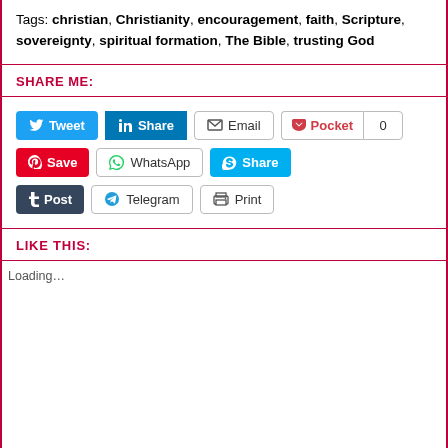Tags: christian, Christianity, encouragement, faith, Scripture, sovereignty, spiritual formation, The Bible, trusting God
SHARE ME:
[Figure (screenshot): Social share buttons: Tweet, LinkedIn Share, Email, Pocket (0), Pinterest Save, WhatsApp, Skype Share, Tumblr Post, Telegram, Print]
LIKE THIS:
Loading...